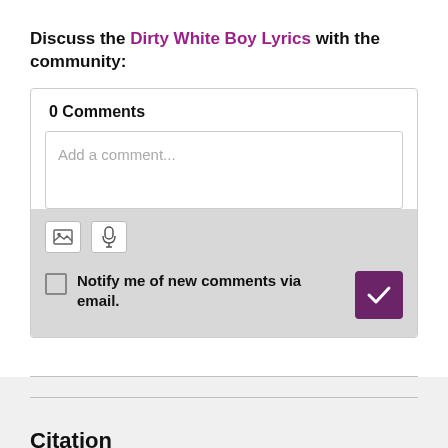Discuss the Dirty White Boy Lyrics with the community:
0 Comments
Add a comment...
Notify me of new comments via email.
Citation